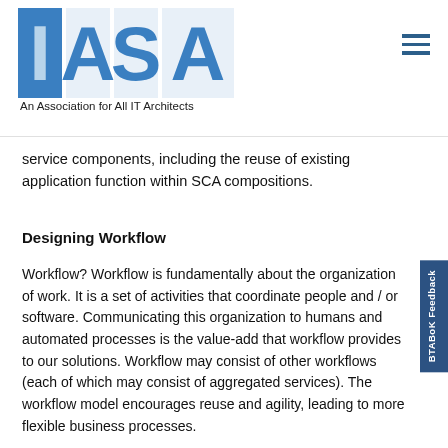IASA — An Association for All IT Architects
service components, including the reuse of existing application function within SCA compositions.
Designing Workflow
Workflow? Workflow is fundamentally about the organization of work. It is a set of activities that coordinate people and / or software. Communicating this organization to humans and automated processes is the value-add that workflow provides to our solutions. Workflow may consist of other workflows (each of which may consist of aggregated services). The workflow model encourages reuse and agility, leading to more flexible business processes.